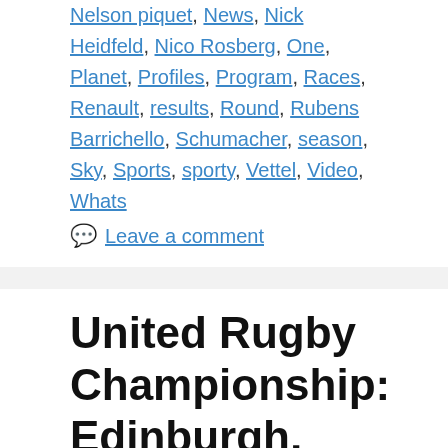Nelson piquet, News, Nick Heidfeld, Nico Rosberg, One, Planet, Profiles, Program, Races, Renault, results, Round, Rubens Barrichello, Schumacher, season, Sky, Sports, sporty, Vettel, Video, Whats
Leave a comment
United Rugby Championship: Edinburgh, Glasgow Warriors and Munster